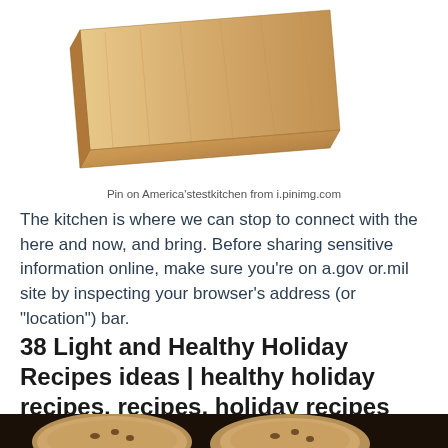[Figure (photo): A wooden cutting board or flat wooden plank photographed at an angle on a white background]
Pin on America'stestkitchen from i.pinimg.com
The kitchen is where we can stop to connect with the here and now, and bring. Before sharing sensitive information online, make sure you’re on a.gov or.mil site by inspecting your browser’s address (or “location”) bar.
38 Light and Healthy Holiday Recipes ideas | healthy holiday recipes, recipes, holiday recipes
[Figure (photo): Cookies or baked goods on a dark background, partially visible at the bottom of the page]